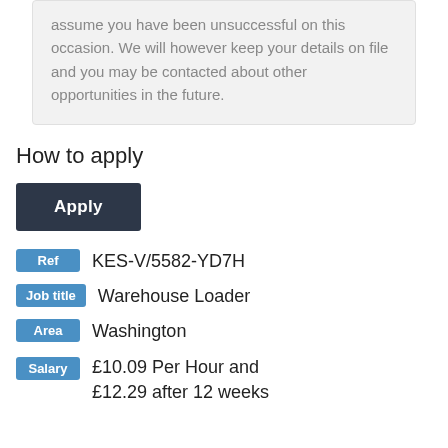assume you have been unsuccessful on this occasion. We will however keep your details on file and you may be contacted about other opportunities in the future.
How to apply
[Figure (other): Dark gray Apply button]
Ref KES-V/5582-YD7H
Job title Warehouse Loader
Area Washington
Salary £10.09 Per Hour and £12.29 after 12 weeks